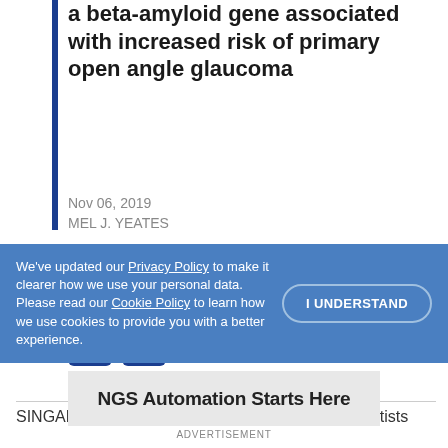a beta-amyloid gene associated with increased risk of primary open angle glaucoma
Nov 06, 2019
MEL J. YEATES
PDF Version
SINGAPORE—A global research team led by scientists
We've updated our Privacy Policy to make it clearer how we use your personal data. Please read our Cookie Policy to learn how we use cookies to provide you with a better experience.
I UNDERSTAND
NGS Automation Starts Here
ADVERTISEMENT